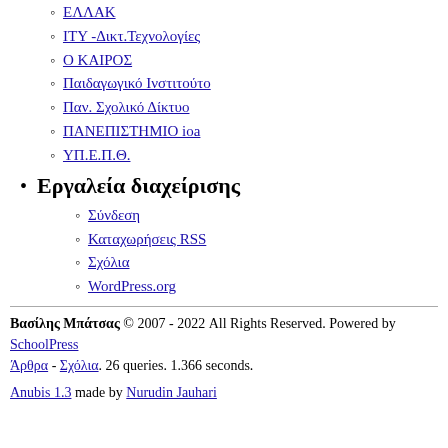ΕΛΛΑΚ
ΙΤΥ -Δικτ.Τεχνολογίες
Ο ΚΑΙΡΟΣ
Παιδαγωγικό Ινστιτούτο
Παν. Σχολικό Δίκτυο
ΠΑΝΕΠΙΣΤΗΜΙΟ ioa
ΥΠ.Ε.Π.Θ.
Εργαλεία διαχείρισης
Σύνδεση
Καταχωρήσεις RSS
Σχόλια
WordPress.org
Βασίλης Μπάτσας © 2007 - 2022 All Rights Reserved. Powered by SchoolPress
Άρθρα - Σχόλια. 26 queries. 1.366 seconds.
Anubis 1.3 made by Nurudin Jauhari